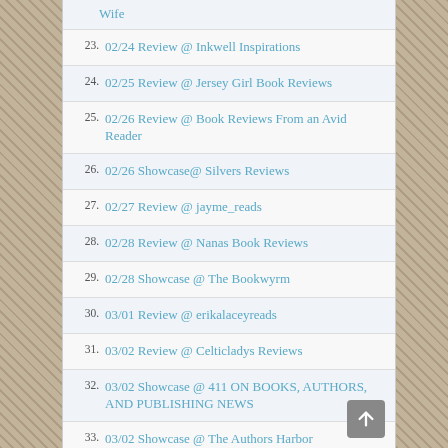Wife
23. 02/24 Review @ Inkwell Inspirations
24. 02/25 Review @ Jersey Girl Book Reviews
25. 02/26 Review @ Book Reviews From an Avid Reader
26. 02/26 Showcase@ Silvers Reviews
27. 02/27 Review @ jayme_reads
28. 02/28 Review @ Nanas Book Reviews
29. 02/28 Showcase @ The Bookwyrm
30. 03/01 Review @ erikalaceyreads
31. 03/02 Review @ Celticladys Reviews
32. 03/02 Showcase @ 411 ON BOOKS, AUTHORS, AND PUBLISHING NEWS
33. 03/02 Showcase @ The Authors Harbor
34. 03/03 Review @ Cover To Cover Cafe